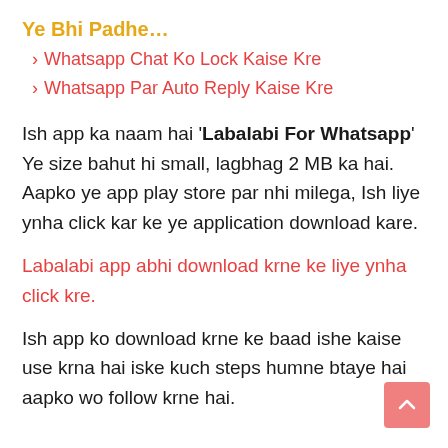Ye Bhi Padhe…
> Whatsapp Chat Ko Lock Kaise Kre
> Whatsapp Par Auto Reply Kaise Kre
Ish app ka naam hai 'Labalabi For Whatsapp' Ye size bahut hi small, lagbhag 2 MB ka hai. Aapko ye app play store par nhi milega, Ish liye ynha click kar ke ye application download kare.
Labalabi app abhi download krne ke liye ynha click kre.
Ish app ko download krne ke baad ishe kaise use krna hai iske kuch steps humne btaye hai aapko wo follow krne hai.